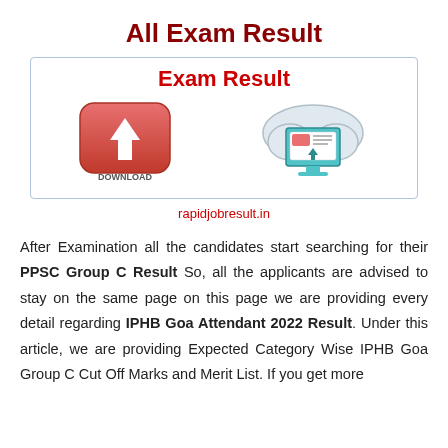All Exam Result
Exam Result
[Figure (illustration): Banner image with a red download button on the left and a cloud/monitor icon on the right representing exam result download]
rapidjobresult.in
After Examination all the candidates start searching for their PPSC Group C Result So, all the applicants are advised to stay on the same page on this page we are providing every detail regarding IPHB Goa Attendant 2022 Result. Under this article, we are providing Expected Category Wise IPHB Goa Group C Cut Off Marks and Merit List. If you get more